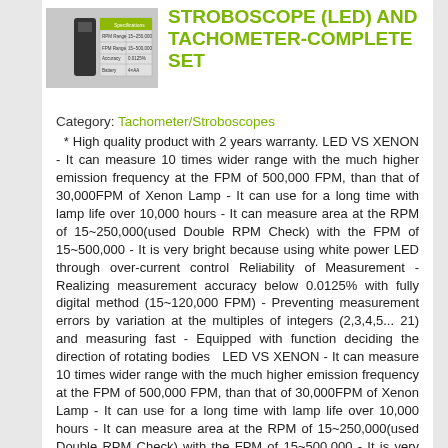[Figure (photo): Product image of stroboscope/tachometer device with small thumbnail photo and data table]
STROBOSCOPE (LED) AND TACHOMETER-COMPLETE SET
Category: Tachometer/Stroboscopes
* High quality product with 2 years warranty. LED VS XENON - It can measure 10 times wider range with the much higher emission frequency at the FPM of 500,000 FPM, than that of 30,000FPM of Xenon Lamp - It can use for a long time with lamp life over 10,000 hours - It can measure area at the RPM of 15~250,000(used Double RPM Check) with the FPM of 15~500,000 - It is very bright because using white power LED through over-current control Reliability of Measurement - Realizing measurement accuracy below 0.0125% with fully digital method (15~120,000 FPM) - Preventing measurement errors by variation at the multiples of integers (2,3,4,5... 21) and measuring fast - Equipped with function deciding the direction of rotating bodies  LED VS XENON - It can measure 10 times wider range with the much higher emission frequency at the FPM of 500,000 FPM, than that of 30,000FPM of Xenon Lamp - It can use for a long time with lamp life over 10,000 hours - It can measure area at the RPM of 15~250,000(used Double RPM Check) with the FPM of 15~500,000 - It is very bright because using white power LED through over-current control Reliability of Measurement - Realizing...
Add to quote